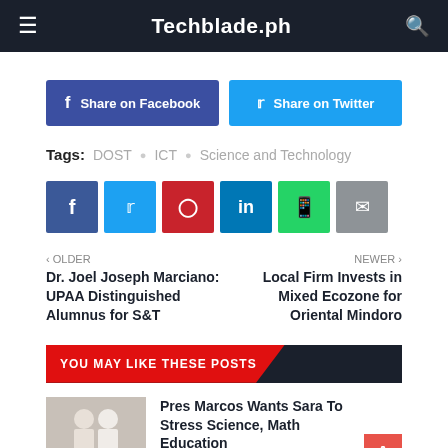Techblade.ph
Share on Facebook | Share on Twitter
Tags: DOST  ICT  Science and Technology
[Figure (infographic): Row of social share icon buttons: Facebook, Twitter, Pinterest, LinkedIn, WhatsApp, Email]
< OLDER
Dr. Joel Joseph Marciano: UPAA Distinguished Alumnus for S&T
NEWER >
Local Firm Invests in Mixed Ecozone for Oriental Mindoro
YOU MAY LIKE THESE POSTS
Pres Marcos Wants Sara To Stress Science, Math Education
June 06, 2022